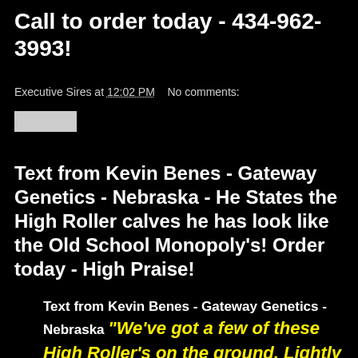Call to order today - 434-962-3993!
Executive Sires at 12:02 PM   No comments:
Text from Kevin Benes - Gateway Genetics - Nebraska - He States the High Roller calves he has look like the Old School Monopoly's! Order today - High Praise!
Text from Kevin Benes - Gateway Genetics - Nebraska "We've got a few of these High Roller's on the ground. Lightly